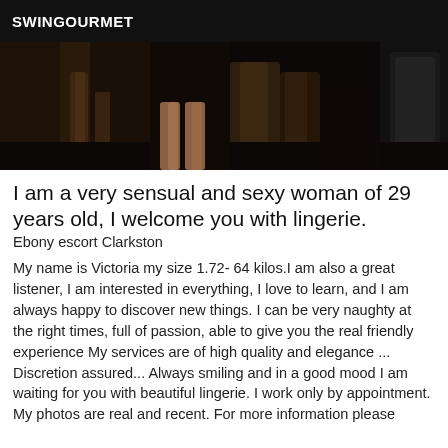SWINGOURMET
[Figure (photo): Dark photo showing legs of a woman in a dimly lit room]
I am a very sensual and sexy woman of 29 years old, I welcome you with lingerie.
Ebony escort Clarkston
My name is Victoria my size 1.72- 64 kilos.I am also a great listener, I am interested in everything, I love to learn, and I am always happy to discover new things. I can be very naughty at the right times, full of passion, able to give you the real friendly experience My services are of high quality and elegance ... Discretion assured... Always smiling and in a good mood I am waiting for you with beautiful lingerie. I work only by appointment. My photos are real and recent. For more information please